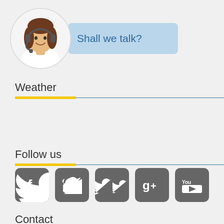[Figure (illustration): Customer service woman with headset in circular avatar, with a speech bubble saying 'Shall we talk?' on light blue background]
Weather
Follow us
[Figure (infographic): Social media icons: Facebook, Twitter, Google+, YouTube — dark grey rounded square buttons]
Contact
[Figure (illustration): Partial grey circular avatar at bottom of contact section]